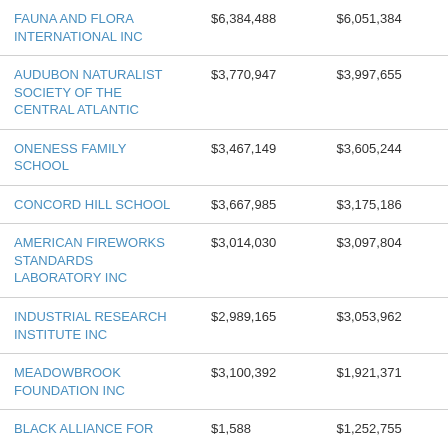| FAUNA AND FLORA INTERNATIONAL INC | $6,384,488 | $6,051,384 |
| AUDUBON NATURALIST SOCIETY OF THE CENTRAL ATLANTIC | $3,770,947 | $3,997,655 |
| ONENESS FAMILY SCHOOL | $3,467,149 | $3,605,244 |
| CONCORD HILL SCHOOL | $3,667,985 | $3,175,186 |
| AMERICAN FIREWORKS STANDARDS LABORATORY INC | $3,014,030 | $3,097,804 |
| INDUSTRIAL RESEARCH INSTITUTE INC | $2,989,165 | $3,053,962 |
| MEADOWBROOK FOUNDATION INC | $3,100,392 | $1,921,371 |
| BLACK ALLIANCE FOR | $1,588 | $1,252,755 |